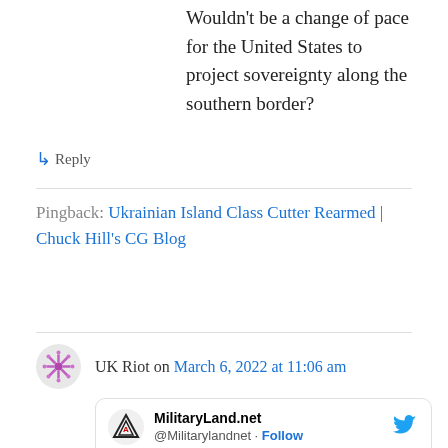Wouldn't be a change of pace for the United States to project sovereignty along the southern border?
↳ Reply
Pingback: Ukrainian Island Class Cutter Rearmed | Chuck Hill's CG Blog
UK Riot on March 6, 2022 at 11:06 am
Russians sank former USCGC Cushing in Ukraine.
MilitaryLand.net @Militarylandnet · Follow Ukrainian Navy confirmed first loss today. Russian